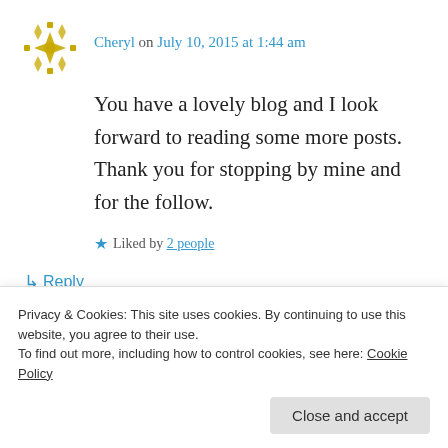Cheryl on July 10, 2015 at 1:44 am
You have a lovely blog and I look forward to reading some more posts. Thank you for stopping by mine and for the follow.
Liked by 2 people
↳ Reply
Patti Clark on July 10, 2015 at 7:34 am
Privacy & Cookies: This site uses cookies. By continuing to use this website, you agree to their use. To find out more, including how to control cookies, see here: Cookie Policy